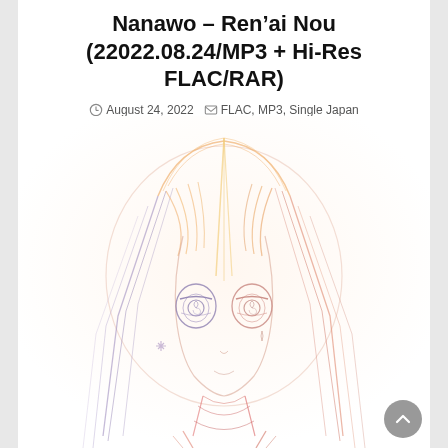Nanawo – Ren'ai Nou (22022.08.24/MP3 + Hi-Res FLAC/RAR)
August 24, 2022   FLAC, MP3, Single Japan
[Figure (illustration): Anime-style pencil sketch illustration of a girl with long hair and large eyes, colored in soft pastel gradient tones of purple, orange, and red on a white background.]